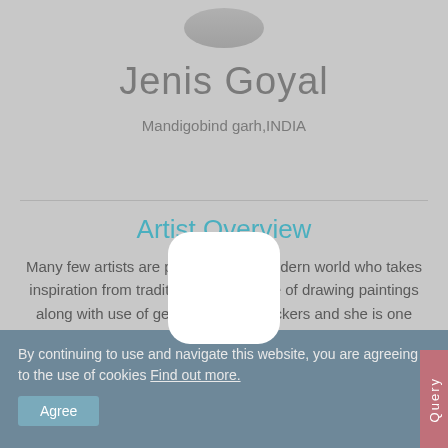Jenis Goyal
Mandigobind garh,INDIA
Artist Overview
Many few artists are present in the modern world who takes inspiration from traditional Indian style of drawing paintings along with use of gemstones and stickers and she is one among them. She loves drawing Hindu mythological gods and goddesses, human figurines and arrangement of patterns to present some structures like flowers and leaves.
By continuing to use and navigate this website, you are agreeing to the use of cookies Find out more.